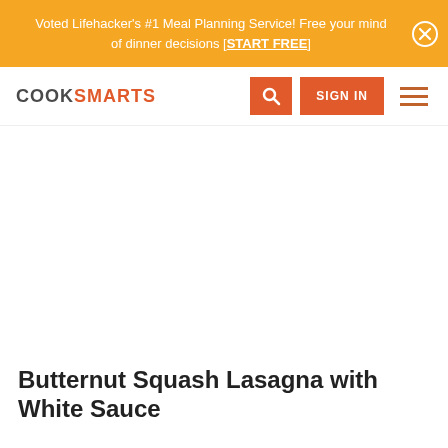Voted Lifehacker's #1 Meal Planning Service! Free your mind of dinner decisions [START FREE]
[Figure (logo): CookSmarts logo with navigation bar including search button, sign in button, and hamburger menu]
[Figure (photo): Large food photo area (white/blank in this screenshot)]
Butternut Squash Lasagna with White Sauce